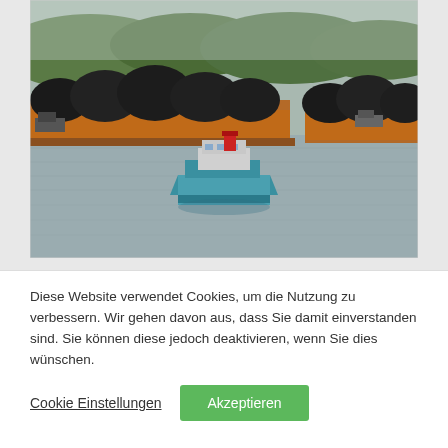[Figure (photo): A river or harbor scene showing coal barges loaded with large black mounds of coal, docked or moored along a waterfront. A tugboat with a red and blue hull is visible in the foreground on the water. Green forested hills are visible in the background.]
Diese Website verwendet Cookies, um die Nutzung zu verbessern. Wir gehen davon aus, dass Sie damit einverstanden sind. Sie können diese jedoch deaktivieren, wenn Sie dies wünschen.
Cookie Einstellungen
Akzeptieren